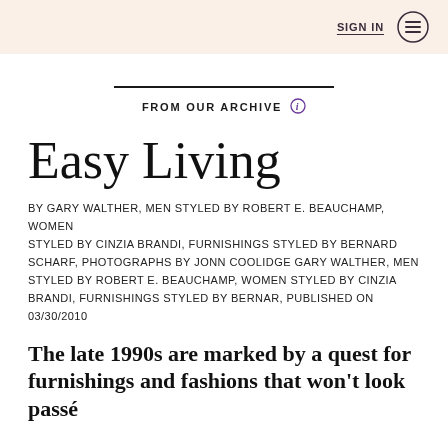SIGN IN
FROM OUR ARCHIVE
Easy Living
BY GARY WALTHER, MEN STYLED BY ROBERT E. BEAUCHAMP, WOMEN STYLED BY CINZIA BRANDI, FURNISHINGS STYLED BY BERNARD SCHARF, PHOTOGRAPHS BY JONN COOLIDGE GARY WALTHER, MEN STYLED BY ROBERT E. BEAUCHAMP, WOMEN STYLED BY CINZIA BRANDI, FURNISHINGS STYLED BY BERNAR, PUBLISHED ON 03/30/2010
The late 1990s are marked by a quest for furnishings and fashions that won't look passé